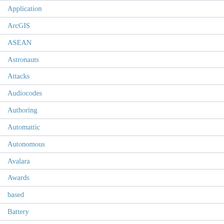Application
ArcGIS
ASEAN
Astronauts
Attacks
Audiocodes
Authoring
Automattic
Autonomous
Avalara
Awards
based
Battery
Become
betting